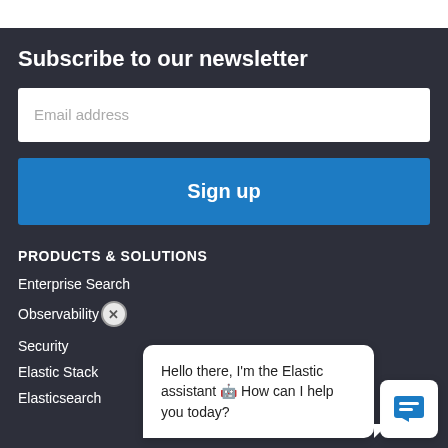Subscribe to our newsletter
Email address
Sign up
PRODUCTS & SOLUTIONS
Enterprise Search
Observability
Security
Elastic Stack
Elasticsearch
[Figure (screenshot): Chat popup overlay with close button and chat icon button. Text reads: Hello there, I'm the Elastic assistant 🤖 How can I help you today?]